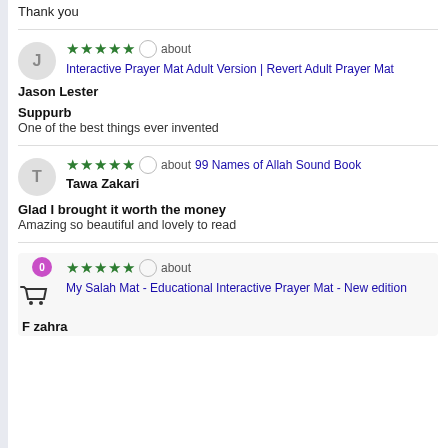Thank you
★★★★★ about Interactive Prayer Mat Adult Version | Revert Adult Prayer Mat
Jason Lester
Suppurb
One of the best things ever invented
★★★★★ about 99 Names of Allah Sound Book
Tawa Zakari
Glad I brought it worth the money
Amazing so beautiful and lovely to read
★★★★★ about My Salah Mat - Educational Interactive Prayer Mat - New edition
F zahra